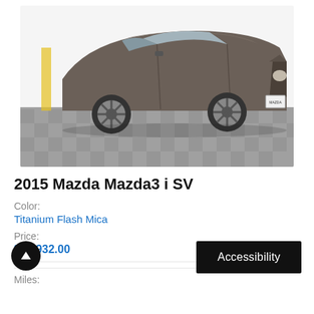[Figure (photo): 2015 Mazda Mazda3 i SV sedan in Titanium Flash Mica color, photographed at a three-quarter front angle on a checkered showroom floor.]
2015 Mazda Mazda3 i SV
Color:
Titanium Flash Mica
Price:
$14,932.00
Mileage: